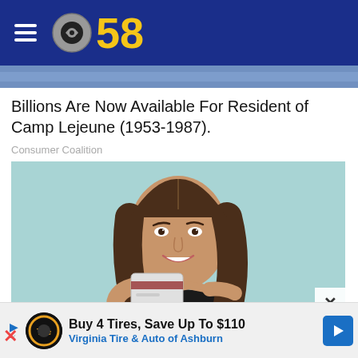CBS 58
Billions Are Now Available For Resident of Camp Lejeune (1953-1987).
Consumer Coalition
[Figure (photo): Young woman with long brown hair smiling and holding a credit card, pointing at it, against a light teal background]
Buy 4 Tires, Save Up To $110 Virginia Tire & Auto of Ashburn